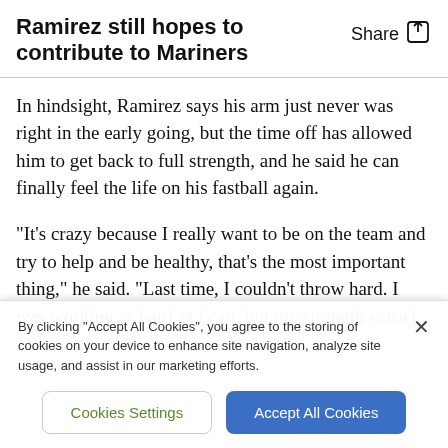Ramirez still hopes to contribute to Mariners
In hindsight, Ramirez says his arm just never was right in the early going, but the time off has allowed him to get back to full strength, and he said he can finally feel the life on his fastball again.
"It's crazy because I really want to be on the team and try to help and be healthy, that's the most important thing," he said. "Last time, I couldn't throw hard. I was working as hard as I can, but my strength wasn't
By clicking "Accept All Cookies", you agree to the storing of cookies on your device to enhance site navigation, analyze site usage, and assist in our marketing efforts.